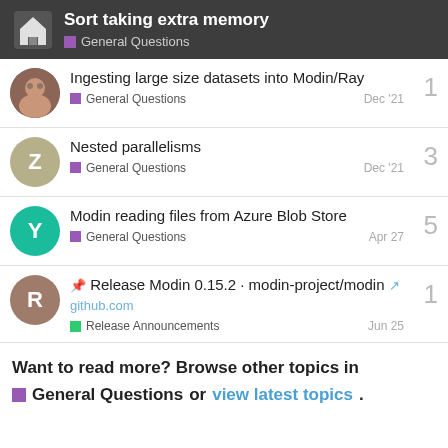Sort taking extra memory — General Questions
Ingesting large size datasets into Modin/Ray — General Questions — Dec '21 — 1 reply
Nested parallelisms — General Questions — Dec '21 — 3 replies
Modin reading files from Azure Blob Store — General Questions — Apr 27 — 5 replies
📌 Release Modin 0.15.2 · modin-project/modin github.com — Release Announcements — Jun 25 — 1 reply
Want to read more? Browse other topics in General Questions or view latest topics.